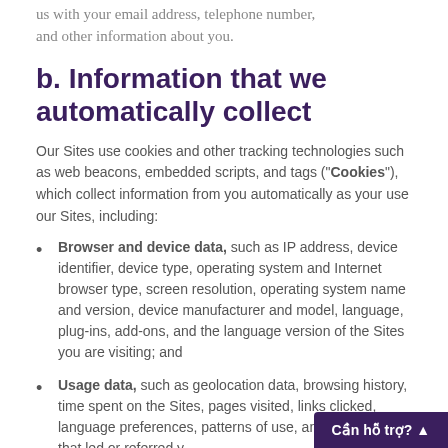us with your email address, telephone number, and other information about you.
b. Information that we automatically collect
Our Sites use cookies and other tracking technologies such as web beacons, embedded scripts, and tags (“Cookies”), which collect information from you automatically as your use our Sites, including:
Browser and device data, such as IP address, device identifier, device type, operating system and Internet browser type, screen resolution, operating system name and version, device manufacturer and model, language, plug-ins, add-ons, and the language version of the Sites you are visiting; and
Usage data, such as geolocation data, browsing history, time spent on the Sites, pages visited, links clicked, language preferences, patterns of use, and the pages that led or referred y... to the Sites